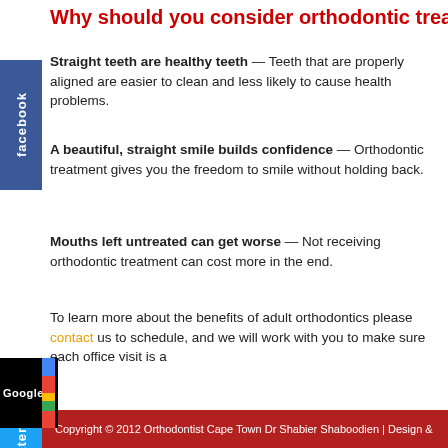Why should you consider orthodontic treatment
Straight teeth are healthy teeth — Teeth that are properly aligned are easier to clean and less likely to cause health problems.
A beautiful, straight smile builds confidence — Orthodontic treatment gives you the freedom to smile without holding back.
Mouths left untreated can get worse — Not receiving orthodontic treatment can cost more in the end.
To learn more about the benefits of adult orthodontics please contact us to schedule, and we will work with you to make sure each office visit is a
Copyright © 2012 Orthodontist Cape Town Dr Shabier Shaboodien | Design &